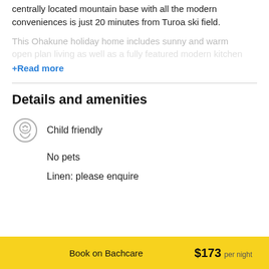centrally located mountain base with all the modern conveniences is just 20 minutes from Turoa ski field.
This Ohakune holiday home includes sunny and warm open plan living as well as a fully featured modern kitchen
+Read more
Details and amenities
Child friendly
No pets
Linen: please enquire
Book on Bachcare   $173 per night